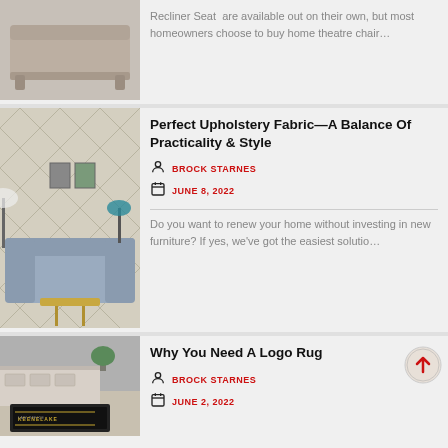[Figure (photo): Partial top card showing a sofa/recliner furniture image]
Recliner Seat  are available out on their own, but most homeowners choose to buy home theatre chair…
[Figure (photo): Living room with patterned wallpaper, gray sofas, lamps and decor]
Perfect Upholstery Fabric—A Balance Of Practicality & Style
BROCK STARNES
JUNE 8, 2022
Do you want to renew your home without investing in new furniture? If yes, we've got the easiest solutio…
[Figure (photo): Office logo rug on floor in front of a reception desk]
Why You Need A Logo Rug
BROCK STARNES
JUNE 2, 2022